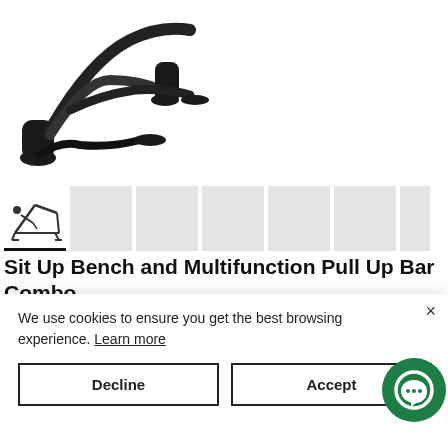[Figure (photo): Pull up bar / exercise equipment product photo on white background]
[Figure (photo): Thumbnail strip showing active thumbnail (sit up bench illustration) and 6 grey placeholder thumbnails]
Sit Up Bench and Multifunction Pull Up Bar Combo
SKU: 100622-00065-0001
R 1,199.00
When will my order be delivered?
Hassle-Free Exchanges & Returns
Equipment Warranty
We use cookies to ensure you get the best browsing experience. Learn more
Decline
Accept